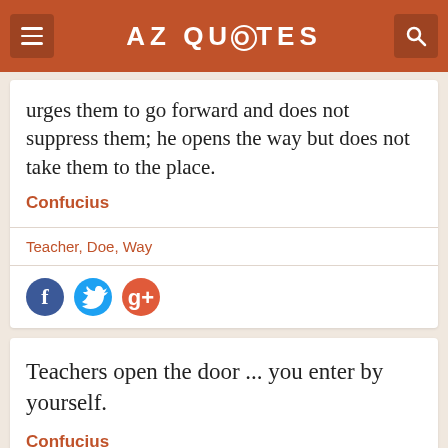AZ QUOTES
urges them to go forward and does not suppress them; he opens the way but does not take them to the place.
Confucius
Teacher, Doe, Way
[Figure (illustration): Social share icons: Facebook (blue circle), Twitter (light blue circle), Google+ (red/orange circle)]
Teachers open the door ... you enter by yourself.
Confucius
Education, Teacher, Teaching